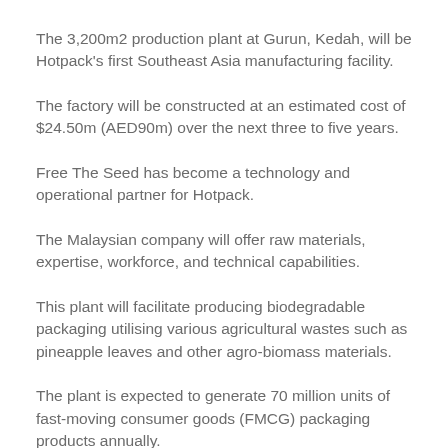The 3,200m2 production plant at Gurun, Kedah, will be Hotpack's first Southeast Asia manufacturing facility.
The factory will be constructed at an estimated cost of $24.50m (AED90m) over the next three to five years.
Free The Seed has become a technology and operational partner for Hotpack.
The Malaysian company will offer raw materials, expertise, workforce, and technical capabilities.
This plant will facilitate producing biodegradable packaging utilising various agricultural wastes such as pineapple leaves and other agro-biomass materials.
The plant is expected to generate 70 million units of fast-moving consumer goods (FMCG) packaging products annually.